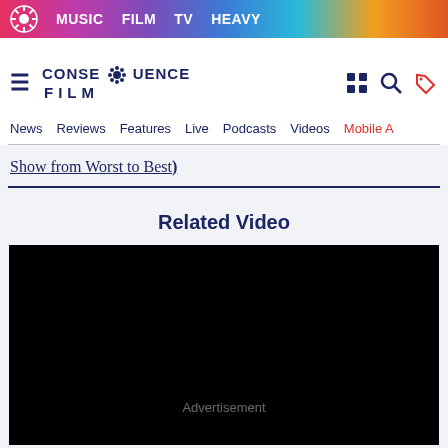MUSIC  FILM  TV  HEAVY
[Figure (logo): Consequence Film logo with gear icon]
News  Reviews  Features  Live  Podcasts  Videos  Mobile A
Show from Worst to Best)
Related Video
[Figure (screenshot): Black video player with Advertisement label]